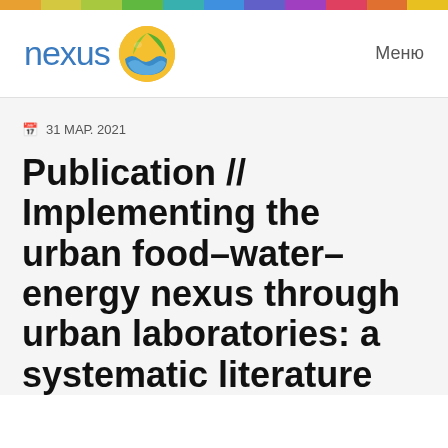[Figure (logo): Nexus logo with colored circle containing sun, water and leaf imagery, and the word 'nexus' in blue]
Меню
31 МАР. 2021
Publication // Implementing the urban food–water–energy nexus through urban laboratories: a systematic literature